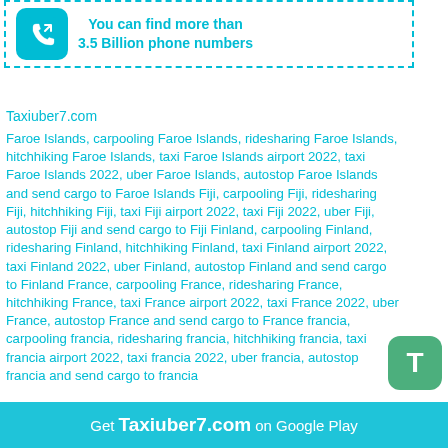[Figure (infographic): Dashed cyan border box with phone icon and text: You can find more than 3.5 Billion phone numbers]
Taxiuber7.com
Faroe Islands, carpooling Faroe Islands, ridesharing Faroe Islands, hitchhiking Faroe Islands, taxi Faroe Islands airport 2022, taxi Faroe Islands 2022, uber Faroe Islands, autostop Faroe Islands and send cargo to Faroe Islands
Fiji, carpooling Fiji, ridesharing Fiji, hitchhiking Fiji, taxi Fiji airport 2022, taxi Fiji 2022, uber Fiji, autostop Fiji and send cargo to Fiji
Finland, carpooling Finland, ridesharing Finland, hitchhiking Finland, taxi Finland airport 2022, taxi Finland 2022, uber Finland, autostop Finland and send cargo to Finland
France, carpooling France, ridesharing France, hitchhiking France, taxi France airport 2022, taxi France 2022, uber France, autostop France and send cargo to France
francia, carpooling francia, ridesharing francia, hitchhiking francia, taxi francia airport 2022, taxi francia 2022, uber francia, autostop francia and send cargo to francia
[Figure (other): Green rounded square button with letter T]
Get Taxiuber7.com on Google Play